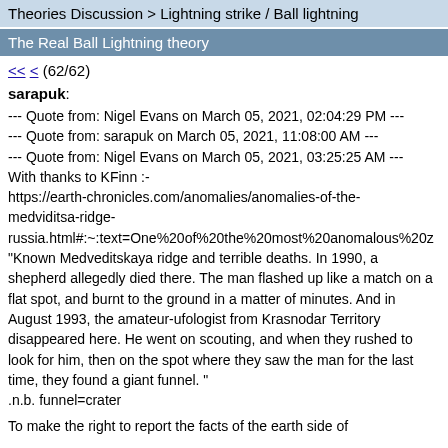Theories Discussion > Lightning strike / Ball lightning
The Real Ball Lightning theory
<< < (62/62)
sarapuk:
--- Quote from: Nigel Evans on March 05, 2021, 02:04:29 PM ---
--- Quote from: sarapuk on March 05, 2021, 11:08:00 AM ---
--- Quote from: Nigel Evans on March 05, 2021, 03:25:25 AM ---
With thanks to KFinn :-
https://earth-chronicles.com/anomalies/anomalies-of-the-medviditsa-ridge-russia.html#:~:text=One%20of%20the%20most%20anomalous%20z
"Known Medveditskaya ridge and terrible deaths. In 1990, a shepherd allegedly died there. The man flashed up like a match on a flat spot, and burnt to the ground in a matter of minutes. And in August 1993, the amateur-ufologist from Krasnodar Territory disappeared here. He went on scouting, and when they rushed to look for him, then on the spot where they saw the man for the last time, they found a giant funnel. "
.n.b. funnel=crater
To make the right to report the facts of the earth side of...